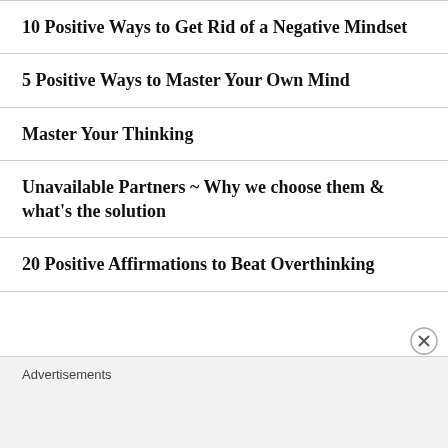10 Positive Ways to Get Rid of a Negative Mindset
5 Positive Ways to Master Your Own Mind
Master Your Thinking
Unavailable Partners ~ Why we choose them & what's the solution
20 Positive Affirmations to Beat Overthinking
Advertisements